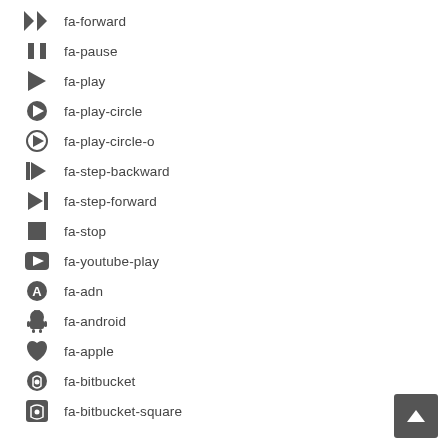fa-forward
fa-pause
fa-play
fa-play-circle
fa-play-circle-o
fa-step-backward
fa-step-forward
fa-stop
fa-youtube-play
fa-adn
fa-android
fa-apple
fa-bitbucket
fa-bitbucket-square